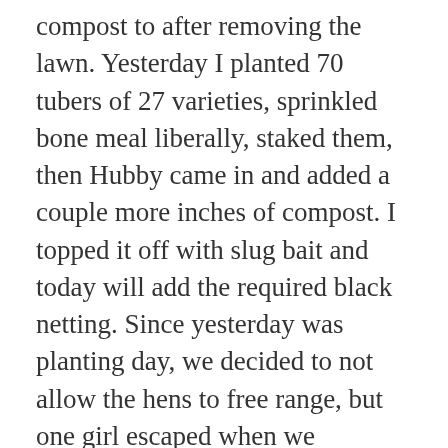compost to after removing the lawn. Yesterday I planted 70 tubers of 27 varieties, sprinkled bone meal liberally, staked them, then Hubby came in and added a couple more inches of compost. I topped it off with slug bait and today will add the required black netting. Since yesterday was planting day, we decided to not allow the hens to free range, but one girl escaped when we replenished their water, and sure enough, she found her way to the new dahlia bed at some point to scratch and peck, breaking off two sprouts from one of my favorite transplants, ‘Punkin